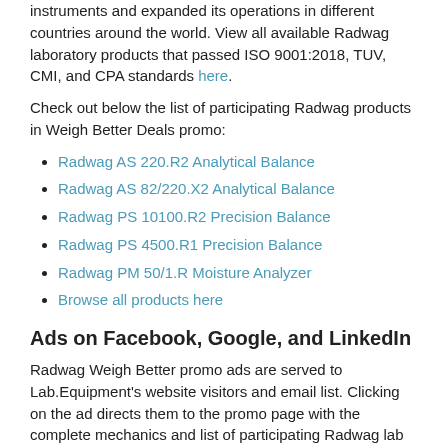instruments and expanded its operations in different countries around the world. View all available Radwag laboratory products that passed ISO 9001:2018, TUV, CMI, and CPA standards here.
Check out below the list of participating Radwag products in Weigh Better Deals promo:
Radwag AS 220.R2 Analytical Balance
Radwag AS 82/220.X2 Analytical Balance
Radwag PS 10100.R2 Precision Balance
Radwag PS 4500.R1 Precision Balance
Radwag PM 50/1.R Moisture Analyzer
Browse all products here
Ads on Facebook, Google, and LinkedIn
Radwag Weigh Better promo ads are served to Lab.Equipment's website visitors and email list. Clicking on the ad directs them to the promo page with the complete mechanics and list of participating Radwag lab balances, moisture analyzers, and mass comparators.
Animated Banner Ads on Google